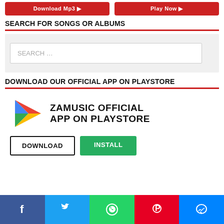[Figure (screenshot): Two red buttons: 'Download Mp3' and 'Play Now' at top]
SEARCH FOR SONGS OR ALBUMS
[Figure (screenshot): Search box with placeholder text 'SEARCH ...' on grey background]
DOWNLOAD OUR OFFICIAL APP ON PLAYSTORE
[Figure (infographic): Zamusic Official App on Playstore banner with Play Store logo, DOWNLOAD and INSTALL buttons]
[Figure (infographic): Social media share bar with Facebook, Twitter, WhatsApp, Pinterest, Messenger buttons]